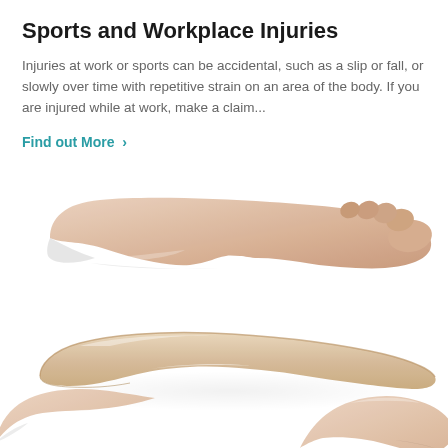Sports and Workplace Injuries
Injuries at work or sports can be accidental, such as a slip or fall, or slowly over time with repetitive strain on an area of the body. If you are injured while at work, make a claim...
Find out More  >
[Figure (photo): A bare human foot held above a shoe orthotic insole being held by two hands against a white background, illustrating foot support products for sports and workplace injuries.]